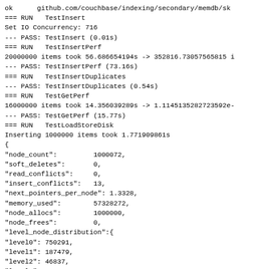ok      github.com/couchbase/indexing/secondary/memdb/sk
=== RUN   TestInsert
Set IO Concurrency: 716
--- PASS: TestInsert (0.01s)
=== RUN   TestInsertPerf
20000000 items took 56.686654194s -> 352816.73057565815 i
--- PASS: TestInsertPerf (73.16s)
=== RUN   TestInsertDuplicates
--- PASS: TestInsertDuplicates (0.54s)
=== RUN   TestGetPerf
16000000 items took 14.356039289s -> 1.1145135282723592e-
--- PASS: TestGetPerf (15.77s)
=== RUN   TestLoadStoreDisk
Inserting 1000000 items took 1.771909861s
{
"node_count":         1000072,
"soft_deletes":       0,
"read_conflicts":     0,
"insert_conflicts":   13,
"next_pointers_per_node": 1.3328,
"memory_used":        57328272,
"node_allocs":        1000000,
"node_frees":         0,
"level_node_distribution":{
"level0": 750291,
"level1": 187479,
"level2": 46837,
"level3": 11515,
"level4": 2963,
"level5": 756,